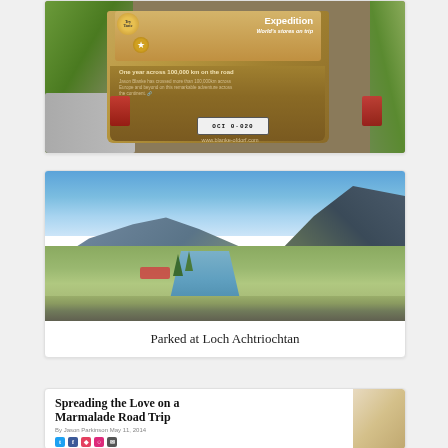[Figure (photo): Rear of a campervan/motorhome on a scenic road in the Scottish Highlands. The van has branding reading 'Marmalade Expedition' with text 'One year across 100,000 km on the road' and a website URL www.blanke-ofdorf.com. License plate visible. Vehicle is beige/gold colored with red tail lights. Green hills visible on left and right.]
[Figure (photo): Scenic mountain valley landscape at Loch Achtriochtan in Glencoe, Scotland. A stream or river runs through the center of the valley floor. Rocky mountains with steep slopes on either side. Blue sky with sparse clouds. Green moorland vegetation. A red car is parked near some small trees on the left side.]
Parked at Loch Achtriochtan
Spreading the Love on a Marmalade Road Trip
By Jason Parkinson May 11, 2014